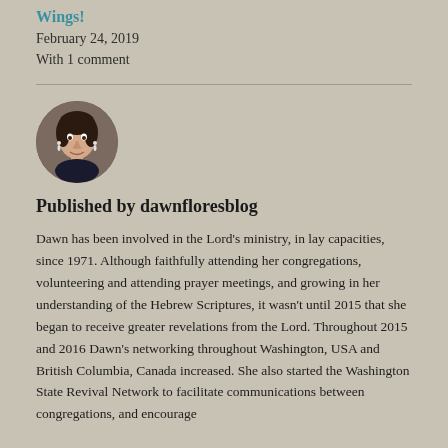Wings!
February 24, 2019
With 1 comment
[Figure (photo): Circular portrait photo of Dawn Flores, a woman with dark hair and earrings, smiling]
Published by dawnfloresblog
Dawn has been involved in the Lord's ministry, in lay capacities, since 1971. Although faithfully attending her congregations, volunteering and attending prayer meetings, and growing in her understanding of the Hebrew Scriptures, it wasn't until 2015 that she began to receive greater revelations from the Lord. Throughout 2015 and 2016 Dawn's networking throughout Washington, USA and British Columbia, Canada increased. She also started the Washington State Revival Network to facilitate communications between congregations, and encourage